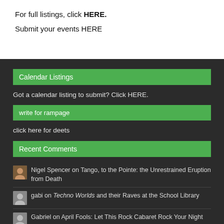For full listings, click HERE. Submit your events HERE
Calendar Listings
Got a calendar listing to submit? Click HERE.
write for rampage
click here for deets
Recent Comments
Nigel Spencer on Tango, to the Pointe: the Unrestrained Eruption from Death
gabi on Techno Worlds and their Raves at the School Library
Gabriel on April Fools: Let This Rock Cabaret Rock Your Night